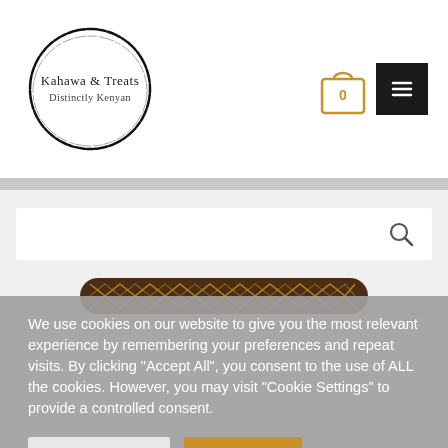[Figure (logo): Kahawa & Treats circular logo with hand-drawn ink circle border, text reads 'Kahawa & Treats' and 'Distinctly Kenyan']
[Figure (illustration): Shopping cart/bag icon with '0' count in golden/tan color, and a black hamburger menu icon]
[Figure (screenshot): Search bar with magnifying glass icon on grey background]
[Figure (photo): Partial view of a product with brown and golden woven/geometric pattern]
We use cookies on our website to give you the most relevant experience by remembering your preferences and repeat visits. By clicking "Accept All", you consent to the use of ALL the cookies. However, you may visit "Cookie Settings" to provide a controlled consent.
Cookie Settings
Accept All